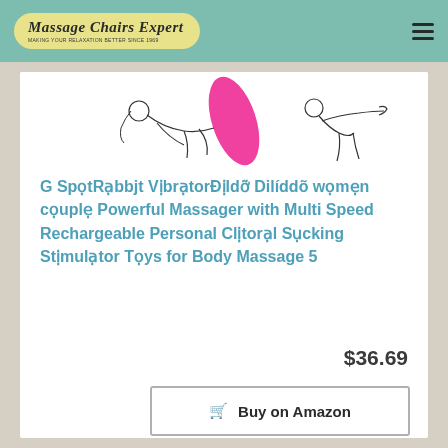Massage Chairs Expert
[Figure (illustration): Line drawings of people using massager with a pink vibrator device shown in center]
G SpọtRạbbjt VịbrạtorĐịldỡ Dilíddõ wọmẹn cọuplẹ Powerful Massager with Multi Speed Rechargeable Personal Clịtorạl Sụcking Stịmulạtor Tọys for Body Massage 5
$36.69
Buy on Amazon